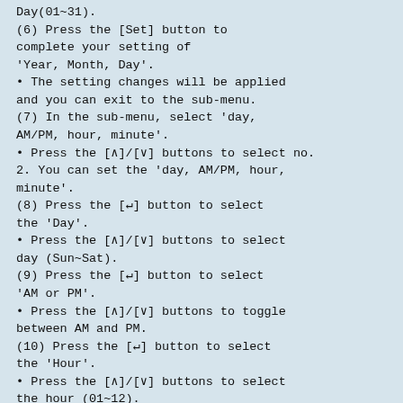Day(01~31).
(6) Press the [Set] button to complete your setting of 'Year, Month, Day'.
• The setting changes will be applied and you can exit to the sub-menu.
(7) In the sub-menu, select 'day, AM/PM, hour, minute'.
• Press the [∧]/[∨] buttons to select no. 2. You can set the 'day, AM/PM, hour, minute'.
(8) Press the [↵] button to select the 'Day'.
• Press the [∧]/[∨] buttons to select day (Sun~Sat).
(9) Press the [↵] button to select 'AM or PM'.
• Press the [∧]/[∨] buttons to toggle between AM and PM.
(10) Press the [↵] button to select the 'Hour'.
• Press the [∧]/[∨] buttons to select the hour (01~12).
(11) Press the [↵] button to select the 'Minute'.
• Press the [∧]/[∨] buttons to select minute (00~59).
(12) Press the [Set] button to complete the current time setting.
• The setting changes are applied and you can exit to general mode.
(13) Press the [Esc] button to exit to general mode.